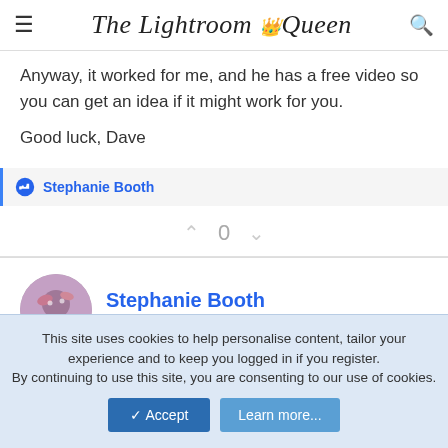The Lightroom Queen
Anyway, it worked for me, and he has a free video so you can get an idea if it might work for you.
Good luck, Dave
Stephanie Booth
0
Stephanie Booth
Member
This site uses cookies to help personalise content, tailor your experience and to keep you logged in if you register.
By continuing to use this site, you are consenting to our use of cookies.